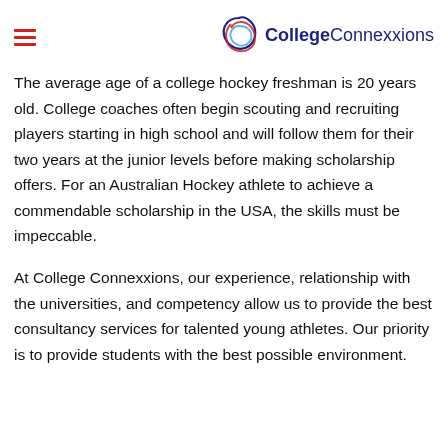College Connexxions
The average age of a college hockey freshman is 20 years old. College coaches often begin scouting and recruiting players starting in high school and will follow them for their two years at the junior levels before making scholarship offers. For an Australian Hockey athlete to achieve a commendable scholarship in the USA, the skills must be impeccable.
At College Connexxions, our experience, relationship with the universities, and competency allow us to provide the best consultancy services for talented young athletes. Our priority is to provide students with the best possible environment.